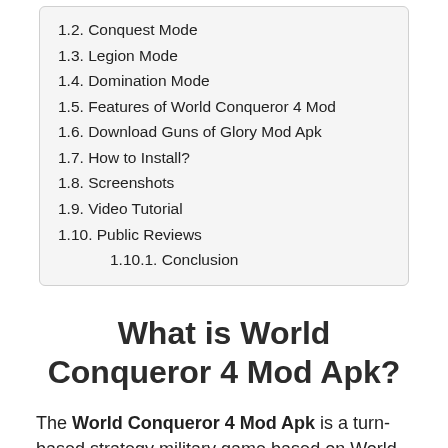1.2. Conquest Mode
1.3. Legion Mode
1.4. Domination Mode
1.5. Features of World Conqueror 4 Mod
1.6. Download Guns of Glory Mod Apk
1.7. How to Install?
1.8. Screenshots
1.9. Video Tutorial
1.10. Public Reviews
1.10.1. Conclusion
What is World Conqueror 4 Mod Apk?
The World Conqueror 4 Mod Apk is a turn-based strategy military game based on World War II. Players can not only act as commanders